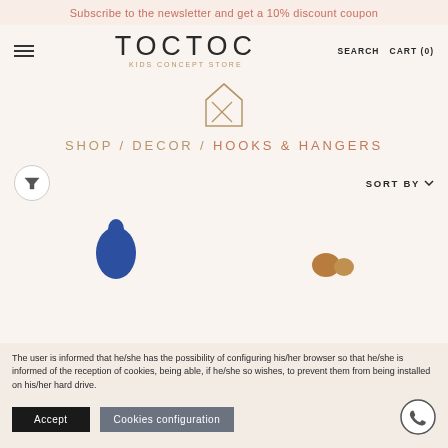Subscribe to the newsletter and get a 10% discount coupon
TOCTOC KIDS CONCEPT STORE
SEARCH   CART (0)
[Figure (illustration): House/home icon outline in copper/rose gold color]
SHOP / DECOR / HOOKS & HANGERS
SORT BY
[Figure (photo): Blue oval/hook product on left, brown product partially visible on right]
The user is informed that he/she has the possibility of configuring his/her browser so that he/she is informed of the reception of cookies, being able, if he/she so wishes, to prevent them from being installed on his/her hard drive.
Accept   Cookies configuration